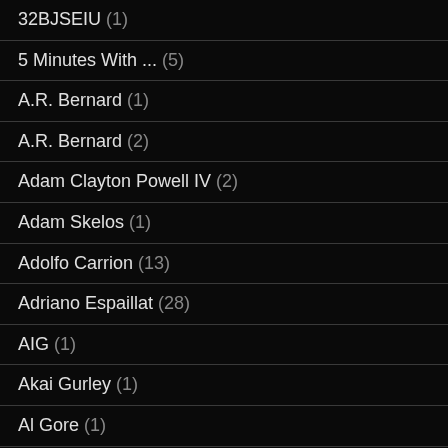32BJSEIU (1)
5 Minutes With ... (5)
A.R. Bernard (1)
A.R. Bernard (2)
Adam Clayton Powell IV (2)
Adam Skelos (1)
Adolfo Carrion (13)
Adriano Espaillat (28)
AIG (1)
Akai Gurley (1)
Al Gore (1)
Al Sharpton (33)
Alain Kaloyeros (2)